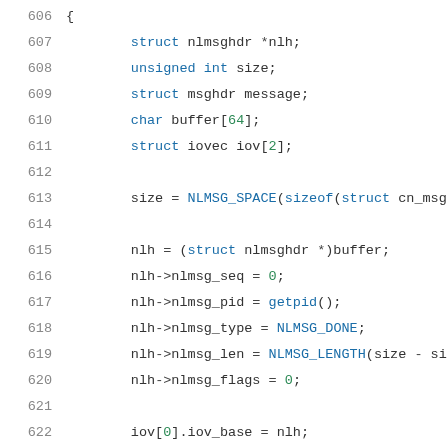[Figure (screenshot): Source code listing showing C code lines 606–626, with line numbers in gray on the left and syntax-highlighted code on the right. Keywords in blue, numbers in green, identifiers in dark/black.]